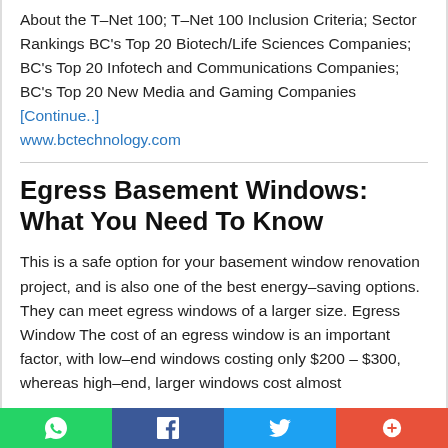About the T–Net 100; T–Net 100 Inclusion Criteria; Sector Rankings BC's Top 20 Biotech/Life Sciences Companies; BC's Top 20 Infotech and Communications Companies; BC's Top 20 New Media and Gaming Companies [Continue..] www.bctechnology.com
Egress Basement Windows: What You Need To Know
This is a safe option for your basement window renovation project, and is also one of the best energy–saving options. They can meet egress windows of a larger size. Egress Window The cost of an egress window is an important factor, with low–end windows costing only $200 – $300, whereas high–end, larger windows cost almost
Social share bar: WhatsApp, Facebook, Twitter, More